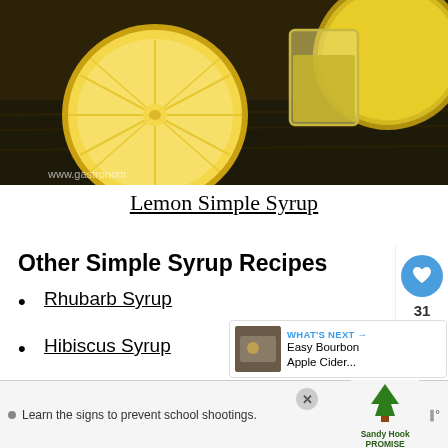[Figure (photo): Photo of lemon halves and a glass of lemon simple syrup on a dark wooden surface, with watermark www.gastronomblog.com]
Lemon Simple Syrup
Other Simple Syrup Recipes
Rhubarb Syrup
Hibiscus Syrup
Autumn Spice Syrup – Fox & Briar
[Figure (screenshot): Social sidebar with heart button showing 31 likes and a share button]
[Figure (screenshot): WHAT'S NEXT panel showing Easy Bourbon Apple Cider...]
[Figure (screenshot): Advertisement bar: Learn the signs to prevent school shootings. Sandy Hook Promise logo.]